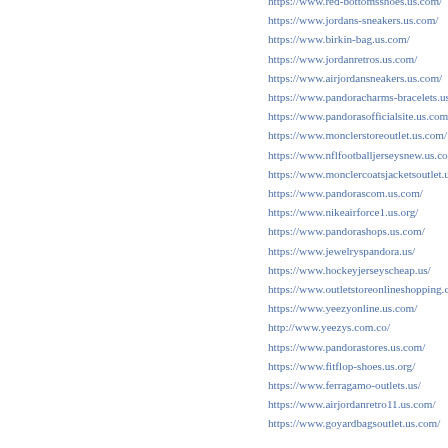https://www.red-bottomsshoes.us.com/
https://www.jordans-sneakers.us.com/
https://www.birkin-bag.us.com/
https://www.jordanretros.us.com/
https://www.airjordansneakers.us.com/
https://www.pandoracharms-bracelets.us.com/
https://www.pandorasofficialsite.us.com/
https://www.monclerstoreoutlet.us.com/
https://www.nflfootballjerseysnew.us.com/
https://www.monclercoatsjacketsoutlet.us.com/
https://www.pandorascom.us.com/
https://www.nikeairforce1.us.org/
https://www.pandorashops.us.com/
https://www.jewelryspandora.us/
https://www.hockeyjerseyscheap.us/
https://www.outletstoreonlineshopping.com.co/
https://www.yeezyonline.us.com/
http://www.yeezys.com.co/
https://www.pandorastores.us.com/
https://www.fitflop-shoes.us.org/
https://www.ferragamo-outlets.us/
https://www.airjordanretro11.us.com/
https://www.goyardbagsoutlet.us.com/